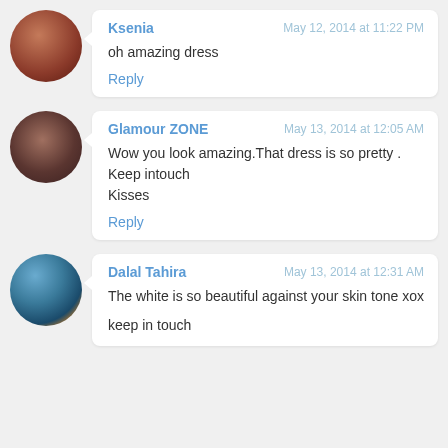Ksenia · May 12, 2014 at 11:22 PM · oh amazing dress · Reply
Glamour ZONE · May 13, 2014 at 12:05 AM · Wow you look amazing.That dress is so pretty . Keep intouch Kisses · Reply
Dalal Tahira · May 13, 2014 at 12:31 AM · The white is so beautiful against your skin tone xox · keep in touch